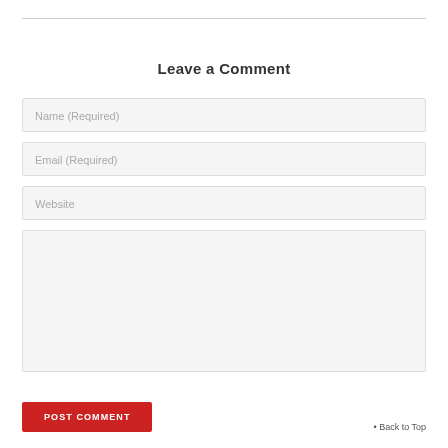Leave a Comment
Name (Required)
Email (Required)
Website
POST COMMENT
Back to Top